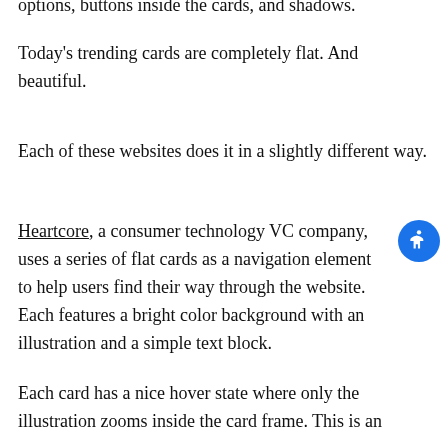options, buttons inside the cards, and shadows.
Today's trending cards are completely flat. And beautiful.
Each of these websites does it in a slightly different way.
Heartcore, a consumer technology VC company, uses a series of flat cards as a navigation element to help users find their way through the website. Each features a bright color background with an illustration and a simple text block.
Each card has a nice hover state where only the illustration zooms inside the card frame. This is an